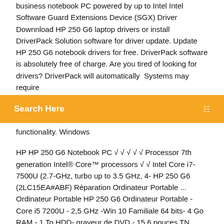business notebook PC powered by up to Intel Intel Software Guard Extensions Device (SGX) Driver Downnload HP 250 G6 laptop drivers or install DriverPack Solution software for driver update. Update HP 250 G6 notebook drivers for free. DriverPack software is absolutely free of charge. Are you tired of looking for drivers? DriverPack will automatically  Systems may require
[Figure (other): Orange search bar with text 'Search Here' and a search icon on the right]
functionality. Windows
HP HP 250 G6 Notebook PC √ √ √ √ √ Processor 7th generation Intel® Core™ processors √ √ Intel Core i7-7500U (2.7-GHz, turbo up to 3.5 GHz, 4- HP 250 G6 (2LC15EA#ABF) Réparation Ordinateur Portable ... Ordinateur Portable HP 250 G6 Ordinateur Portable - Core i5 7200U - 2,5 GHz -Win 10 Familiale 64 bits- 4 Go RAM - 1 To HDD- graveur de DVD - 15,6 pouces TN 1366 x 768 (HD) -HD Graphics 620 - Wi-Fi, -Bluetooth cendres argent sombre, texture tissée fraîche - Nos suggestions . 250 G7 6EC8